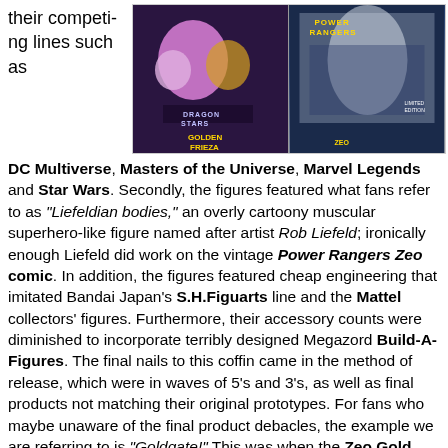their competing lines such as
[Figure (photo): Two action figure toy packages side by side: Dragon Stars Golden Frieza on the left, Power Rangers Zeo on the right]
DC Multiverse, Masters of the Universe, Marvel Legends and Star Wars. Secondly, the figures featured what fans refer to as "Liefeldian bodies," an overly cartoony muscular superhero-like figure named after artist Rob Liefeld; ironically enough Liefeld did work on the vintage Power Rangers Zeo comic. In addition, the figures featured cheap engineering that imitated Bandai Japan's S.H.Figuarts line and the Mattel collectors' figures. Furthermore, their accessory counts were diminished to incorporate terribly designed Megazord Build-A-Figures. The final nails to this coffin came in the method of release, which were in waves of 5's and 3's, as well as final products not matching their original prototypes. For fans who maybe unaware of the final product debacles, the example we are referring to is "Goldgate!" This was when the Zeo Gold Ranger featured basic butterscotch/ marigold plastic